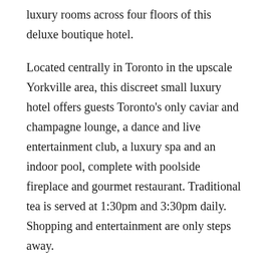luxury rooms across four floors of this deluxe boutique hotel.
Located centrally in Toronto in the upscale Yorkville area, this discreet small luxury hotel offers guests Toronto's only caviar and champagne lounge, a dance and live entertainment club, a luxury spa and an indoor pool, complete with poolside fireplace and gourmet restaurant. Traditional tea is served at 1:30pm and 3:30pm daily. Shopping and entertainment are only steps away.
The Marriot Niagra Falls Fallsview and Spa, Niagra Falls, Ontario – Romantic Canada Hotel